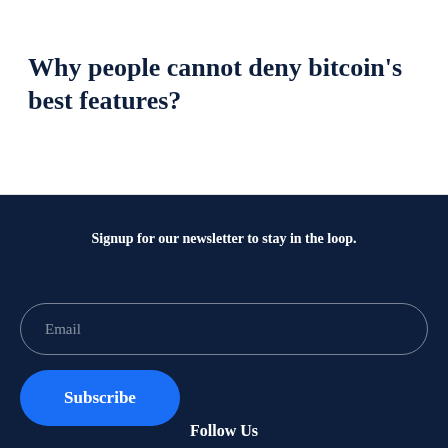Why people cannot deny bitcoin's best features?
Signup for our newsletter to stay in the loop.
Email
Subscribe
Follow Us